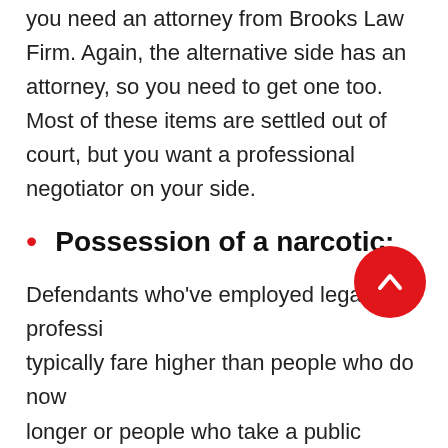you need an attorney from Brooks Law Firm. Again, the alternative side has an attorney, so you need to get one too. Most of these items are settled out of court, but you want a professional negotiator on your side.
Possession of a narcotic:
Defendants who've employed legal professionals typically fare higher than people who do not hire or people who take a public defender.
Remember, a public defender is on case overload and